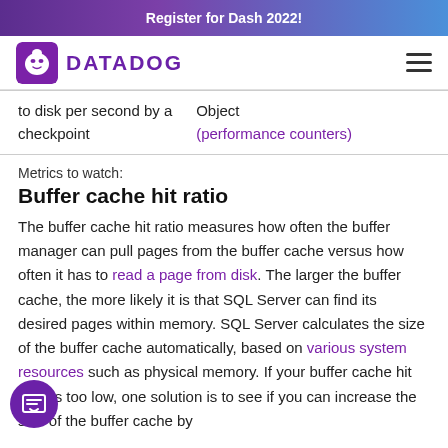Register for Dash 2022!
DATADOG
| to disk per second by a checkpoint | Object (performance counters) |
Metrics to watch:
Buffer cache hit ratio
The buffer cache hit ratio measures how often the buffer manager can pull pages from the buffer cache versus how often it has to read a page from disk. The larger the buffer cache, the more likely it is that SQL Server can find its desired pages within memory. SQL Server calculates the size of the buffer cache automatically, based on various system resources such as physical memory. If your buffer cache hit ratio is too low, one solution is to see if you can increase the size of the buffer cache by